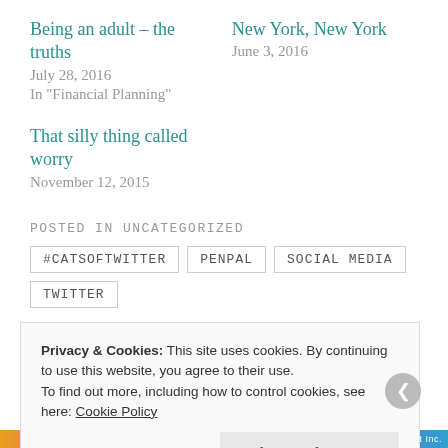Being an adult – the truths
July 28, 2016
In "Financial Planning"
New York, New York
June 3, 2016
That silly thing called worry
November 12, 2015
POSTED IN UNCATEGORIZED
#CATSOFTWITTER   PENPAL   SOCIAL MEDIA   TWITTER
Privacy & Cookies: This site uses cookies. By continuing to use this website, you agree to their use.
To find out more, including how to control cookies, see here: Cookie Policy
Close and accept